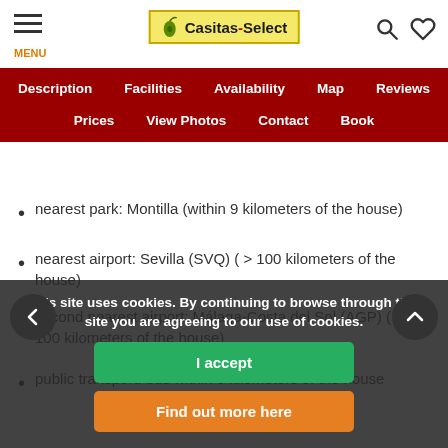Casitas-Select — MENU | Search | Wishlist
Description | Facilities | Availability | Map | Reviews | Prices | View Photos | Contact | Book
nearest park: Montilla (within 9 kilometers of the house)
nearest airport: Sevilla (SVQ) ( > 100 kilometers of the house)
second nearest airport: Málaga-Costa del Sol (AGP) ( > 100 kilometers of the house)
public transport: bus within 9 kilometers of the house
no smoking accommodation
please consult if pets are allowed
The accommodation is very suitable for families with children
Facilities and services included in the rental price of the house
This site uses cookies. By continuing to browse through this site you are agreeing to our use of cookies.
I accept
Find out more here